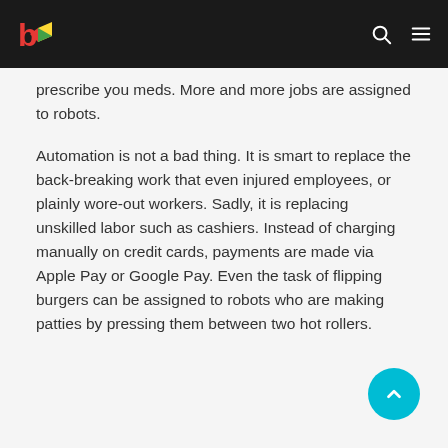Navigation bar with logo and icons
prescribe you meds. More and more jobs are assigned to robots.
Automation is not a bad thing. It is smart to replace the back-breaking work that even injured employees, or plainly wore-out workers. Sadly, it is replacing unskilled labor such as cashiers. Instead of charging manually on credit cards, payments are made via Apple Pay or Google Pay. Even the task of flipping burgers can be assigned to robots who are making patties by pressing them between two hot rollers.